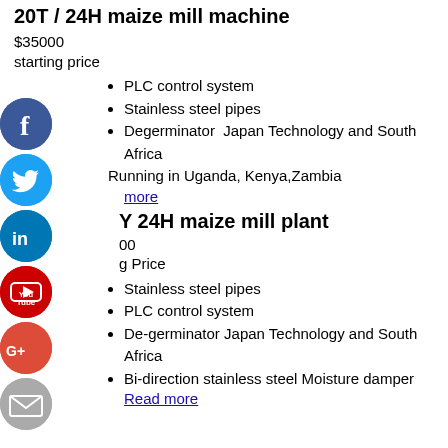20T / 24H maize mill machine
$35000
starting price
PLC control system
Stainless steel pipes
Degerminator  Japan Technology and South Africa
Running in Uganda, Kenya,Zambia
Read more
Y 24H maize mill plant
$45000
Starting Price
Stainless steel pipes
PLC control system
De-germinator Japan Technology and South Africa
Bi-direction stainless steel Moisture damper
Read more